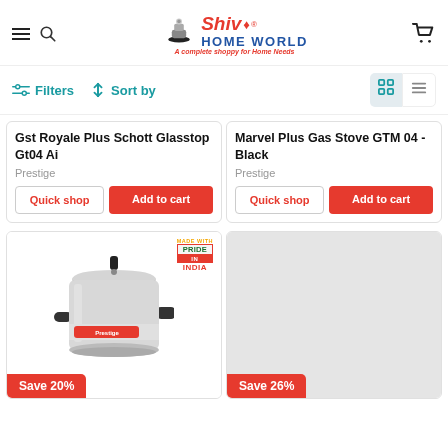[Figure (logo): Shiv Home World logo with tagline 'A complete shoppy for Home Needs']
Filters
Sort by
Gst Royale Plus Schott Glasstop Gt04 Ai
Prestige
Marvel Plus Gas Stove GTM 04 - Black
Prestige
[Figure (photo): Pressure cooker product image with Pride in India badge]
Save 20%
[Figure (photo): Gray placeholder product image]
Save 26%